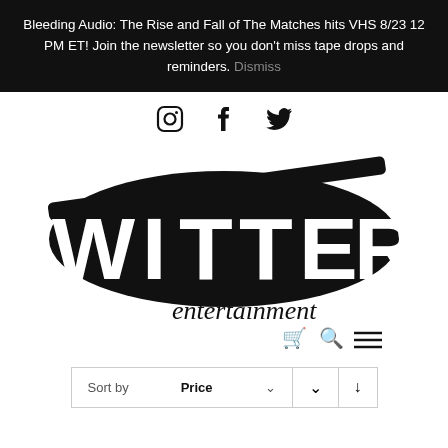Bleeding Audio: The Rise and Fall of The Matches hits VHS 8/23 12 PM ET! Join the newsletter so you don't miss tape drops and reminders. Dismiss
[Figure (logo): Social media icons: Instagram, Facebook, Twitter]
[Figure (logo): Witter Entertainment logo - large black stylized text with guitar graphic and entertainment script below, with cart, search, and menu icons]
Sort by Price